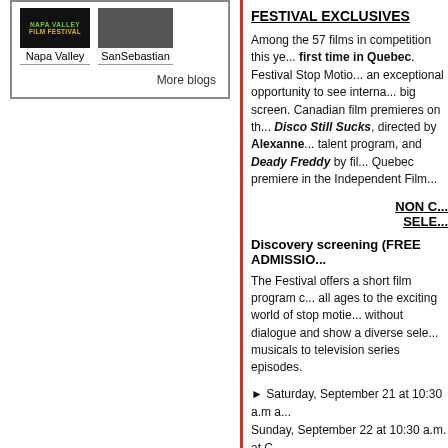[Figure (logo): Napa Valley Film Festival logo – black background with green and yellow text]
[Figure (photo): San Sebastian film festival – dark photo thumbnail]
Napa Valley
SanSebastian
More blogs
FESTIVAL EXCLUSIVES
Among the 57 films in competition this ye... first time in Quebec. Festival Stop Motio... an exceptional opportunity to see interna... big screen. Canadian film premieres on th... Disco Still Sucks, directed by Alexanne... talent program, and Deady Freddy by fil... Quebec premiere in the Independent Film...
NON C... SELE...
Discovery screening (FREE ADMISSIO...
The Festival offers a short film program c... all ages to the exciting world of stop motie... without dialogue and show a diverse sele... musicals to television series episodes.
► Saturday, September 21 at 10:30 a.m a... Sunday, September 22 at 10:30 a.m. at C...